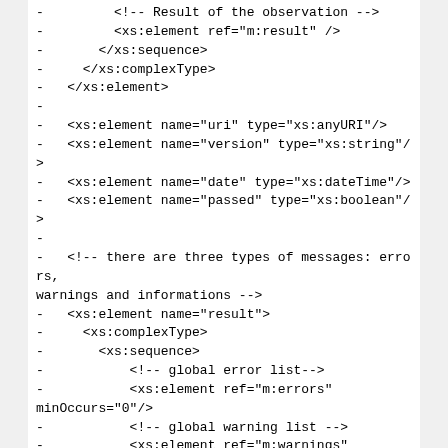- <!-- Result of the observation -->
-         <xs:element ref="m:result" />
-       </xs:sequence>
-     </xs:complexType>
-   </xs:element>
-
-   <xs:element name="uri" type="xs:anyURI"/>
-   <xs:element name="version" type="xs:string"/>
-   <xs:element name="date" type="xs:dateTime"/>
-   <xs:element name="passed" type="xs:boolean"/>
-
-   <!-- there are three types of messages: errors, warnings and informations -->
-   <xs:element name="result">
-     <xs:complexType>
-       <xs:sequence>
-           <!-- global error list-->
-           <xs:element ref="m:errors"
minOccurs="0"/>
-           <!-- global warning list -->
-           <xs:element ref="m:warnings"
minOccurs="0"/>
-           <!-- global message list -->
-           <xs:element ref="m:informations"
minOccurs="0"/>
-       </xs:sequence>
-     </xs:complexType>
-   </xs:element>
-
-   <xs:element name="errors"